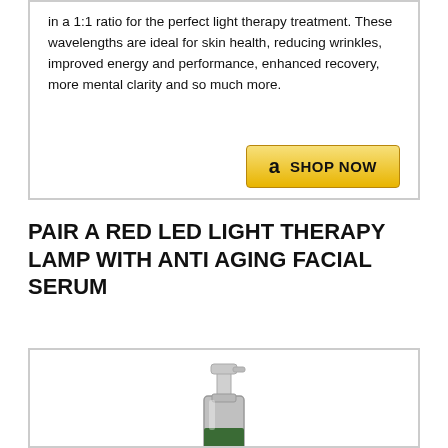in a 1:1 ratio for the perfect light therapy treatment. These wavelengths are ideal for skin health, reducing wrinkles, improved energy and performance, enhanced recovery, more mental clarity and so much more.
[Figure (other): Amazon Prime logo and Shop Now button]
PAIR A RED LED LIGHT THERAPY LAMP WITH ANTI AGING FACIAL SERUM
[Figure (photo): A silver pump bottle of anti-aging facial serum with a green label, partially visible at the bottom of the page]